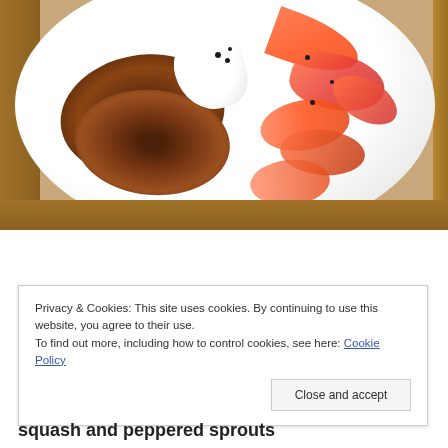[Figure (photo): Overhead view of a white plate on a wooden table containing two dark golden-brown pancakes topped with a cream dollop and black seeds, alongside orange/grapefruit citrus segments arranged on the right side of the plate.]
Privacy & Cookies: This site uses cookies. By continuing to use this website, you agree to their use.
To find out more, including how to control cookies, see here: Cookie Policy
Close and accept
squash and peppered sprouts